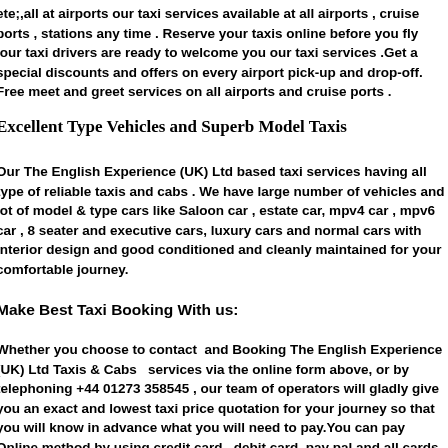ete;,all at airports our taxi services available at all airports , cruise ports , stations any time . Reserve your taxis online before you fly ,our taxi drivers are ready to welcome you our taxi services .Get a special discounts and offers on every airport pick-up and drop-off. Free meet and greet services on all airports and cruise ports .
Excellent Type Vehicles and Superb Model Taxis
Our The English Experience (UK) Ltd based taxi services having all type of reliable taxis and cabs . We have large number of vehicles and lot of model & type cars like Saloon car , estate car, mpv4 car , mpv6 car , 8 seater and executive cars, luxury cars and normal cars with interior design and good conditioned and cleanly maintained for your comfortable journey.
Make Best Taxi Booking With us:
Whether you choose to contact and Booking The English Experience (UK) Ltd Taxis & Cabs services via the online form above, or by telephoning +44 01273 358545 , our team of operators will gladly give you an exact and lowest taxi price quotation for your journey so that you will know in advance what you will need to pay.You can pay Online method by using credit card , debit card, pay pal and all cards are accepted or you can give cash to the driver. We have 24 hours 'Online